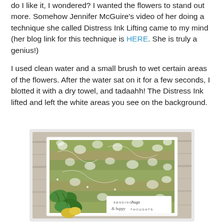do I like it, I wondered?  I wanted the flowers to stand out more.  Somehow Jennifer McGuire's video of her doing a technique she called Distress Ink Lifting came to my mind (her blog link for this technique is HERE.  She is truly a genius!)

I used clean water and a small brush to wet certain areas of the flowers.  After the water sat on it for a few seconds, I blotted it with a dry towel, and tadaahh!  The Distress Ink lifted and left the white areas you see on the background.
[Figure (photo): A handmade greeting card with a green floral stamped background using Distress Ink Lifting technique, showing white lifted areas among green and tan floral patterns. A green leaf cluster and yellow flower are visible in the lower left. A sentiment tag reads 'SENDING hugs & happy THOUGHTS'. The card is displayed on a rustic wood background.]